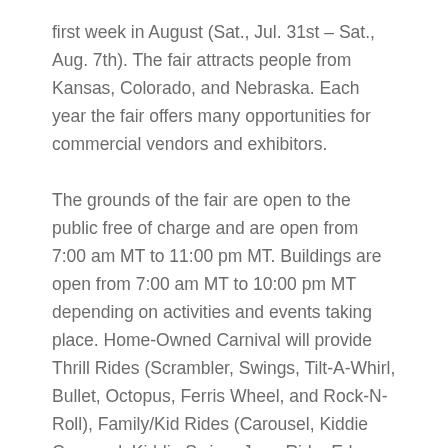first week in August (Sat., Jul. 31st – Sat., Aug. 7th). The fair attracts people from Kansas, Colorado, and Nebraska. Each year the fair offers many opportunities for commercial vendors and exhibitors.
The grounds of the fair are open to the public free of charge and are open from 7:00 am MT to 11:00 pm MT. Buildings are open from 7:00 am MT to 10:00 pm MT depending on activities and events taking place. Home-Owned Carnival will provide Thrill Rides (Scrambler, Swings, Tilt-A-Whirl, Bullet, Octopus, Ferris Wheel, and Rock-N-Roll), Family/Kid Rides (Carousel, Kiddie Carousel, Kiddie Swing, Jeep Ride, Edson Rocket Train, Inflatable Slide, Inflatable Bounce House, Bumper Cars, and Trackless Train) and Game Booths.